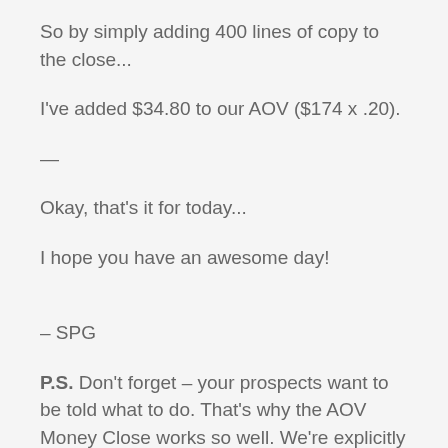So by simply adding 400 lines of copy to the close...
I've added $34.80 to our AOV ($174 x .20).
—
Okay, that's it for today...
I hope you have an awesome day!
– SPG
P.S. Don't forget – your prospects want to be told what to do. That's why the AOV Money Close works so well. We're explicitly telling them to take the biggest package. And when we do that, a shockingly high percentage of